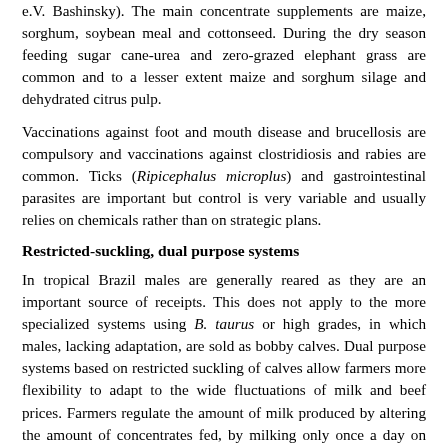e.V. Bashinsky). The main concentrate supplements are maize, sorghum, soybean meal and cottonseed. During the dry season feeding sugar cane-urea and zero-grazed elephant grass are common and to a lesser extent maize and sorghum silage and dehydrated citrus pulp.
Vaccinations against foot and mouth disease and brucellosis are compulsory and vaccinations against clostridiosis and rabies are common. Ticks (Ripicephalus microplus) and gastrointestinal parasites are important but control is very variable and usually relies on chemicals rather than on strategic plans.
Restricted-suckling, dual purpose systems
In tropical Brazil males are generally reared as they are an important source of receipts. This does not apply to the more specialized systems using B. taurus or high grades, in which males, lacking adaptation, are sold as bobby calves. Dual purpose systems based on restricted suckling of calves allow farmers more flexibility to adapt to the wide fluctuations of milk and beef prices. Farmers regulate the amount of milk produced by altering the amount of concentrates fed, by milking only once a day on part or the whole herd leaving more milk for the calves, or by switching to a total suckling system (Madalena 2001a).
B. indicus cows and their low grade B. taurus crosses need to be